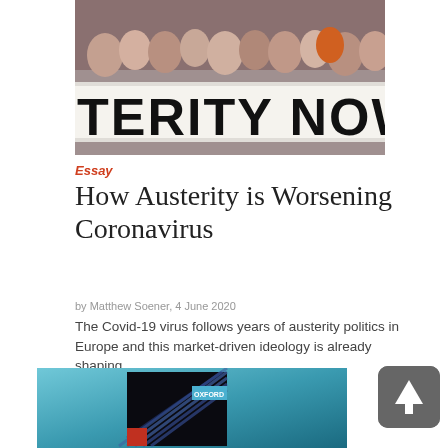[Figure (photo): Protest photo showing people holding a white banner with large black text reading 'TERITY NOW' (partial view of 'AUSTERITY NOW')]
Essay
How Austerity is Worsening Coronavirus
by Matthew Soener, 4 June 2020
The Covid-19 virus follows years of austerity politics in Europe and this market-driven ideology is already shaping...
[Figure (photo): Book cover image against a teal/turquoise background, showing a dark book with diagonal striped design and 'OXFORD' text visible]